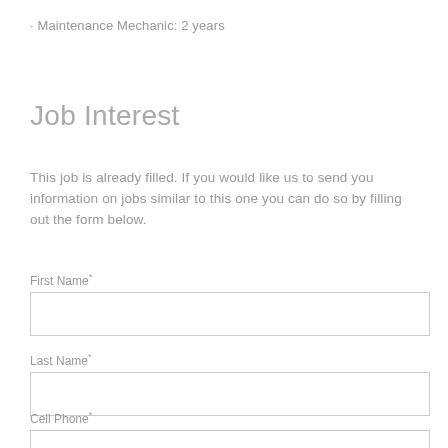· Maintenance Mechanic: 2 years
Job Interest
This job is already filled. If you would like us to send you information on jobs similar to this one you can do so by filling out the form below.
First Name*
Last Name*
Cell Phone*